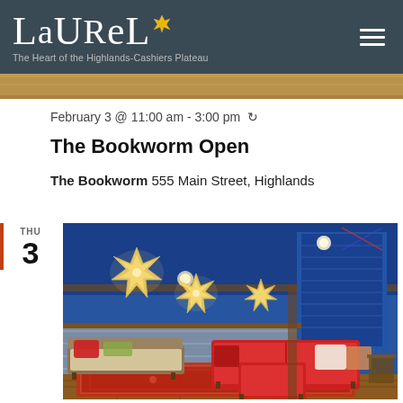LAUREL - The Heart of the Highlands-Cashiers Plateau
[Figure (photo): Top decorative image strip showing colorful patterns]
February 3 @ 11:00 am - 3:00 pm ↻
The Bookworm Open
The Bookworm 555 Main Street, Highlands
THU 3
[Figure (photo): Interior of The Bookworm bookstore showing blue walls, star-shaped hanging lanterns, red sofas, and a patterned rug on hardwood floors]